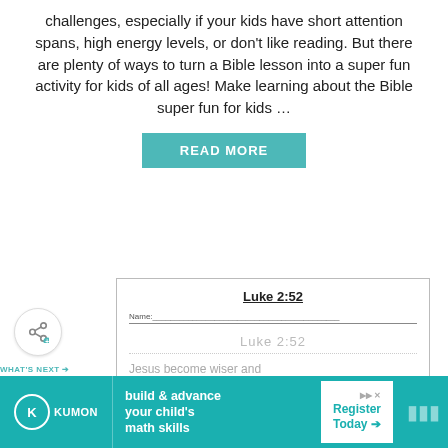challenges, especially if your kids have short attention spans, high energy levels, or don't like reading. But there are plenty of ways to turn a Bible lesson into a super fun activity for kids of all ages! Make learning about the Bible super fun for kids …
READ MORE
[Figure (screenshot): Worksheet preview showing 'Luke 2:52' title with name line, dotted tracing text 'Luke 2:52', and body text 'Jesus become wiser and stronger. He also become more...']
[Figure (illustration): Share button with share icon]
WHAT'S NEXT → Farm Animals Find the Lett...
[Figure (screenshot): Thumbnail preview of Farm Animals Find the Letter worksheet]
[Figure (infographic): Advertisement: KUMON - build & advance your child's math skills - Register Today →]